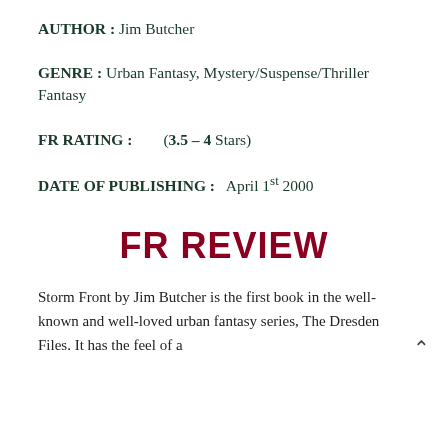AUTHOR : Jim Butcher
GENRE : Urban Fantasy, Mystery/Suspense/Thriller Fantasy
FR RATING : (3.5 – 4 Stars)
DATE OF PUBLISHING : April 1st 2000
FR REVIEW
Storm Front by Jim Butcher is the first book in the well-known and well-loved urban fantasy series, The Dresden Files. It has the feel of a